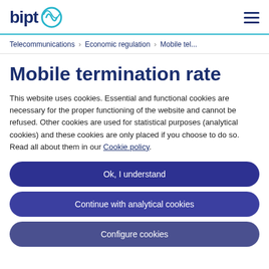bipt [logo] ☰
Telecommunications > Economic regulation > Mobile tel...
Mobile termination rate
This website uses cookies. Essential and functional cookies are necessary for the proper functioning of the website and cannot be refused. Other cookies are used for statistical purposes (analytical cookies) and these cookies are only placed if you choose to do so. Read all about them in our Cookie policy.
Ok, I understand
Continue with analytical cookies
Configure cookies